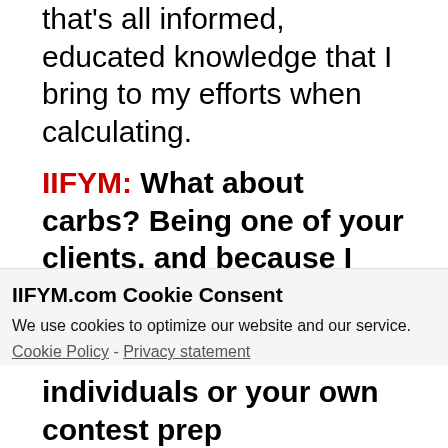that's all informed, educated knowledge that I bring to my efforts when calculating.
IIFYM: What about carbs? Being one of your clients, and because I know many of the people you work with, and though I have to say that I don't know of many
IIFYM.com Cookie Consent
We use cookies to optimize our website and our service.
Cookie Policy - Privacy statement
Accept
individuals or your own contest prep